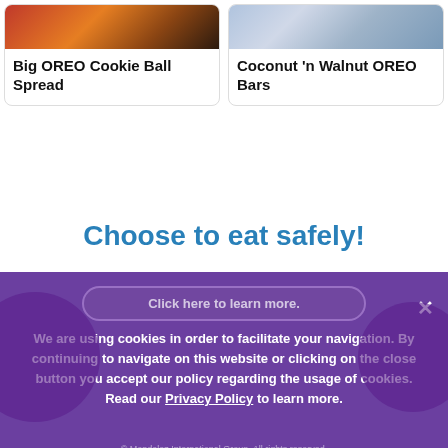[Figure (photo): Recipe card for Big OREO Cookie Ball Spread with food photo at top]
Big OREO Cookie Ball Spread
[Figure (photo): Recipe card for Coconut 'n Walnut OREO Bars with food photo at top]
Coconut 'n Walnut OREO Bars
Choose to eat safely!
Click here to learn more.
We are using cookies in order to facilitate your navigation. By continuing to navigate on this website or clicking on the close button you accept our policy regarding the usage of cookies. Read our Privacy Policy to learn more.
© Mondelez International Group. All rights reserved.